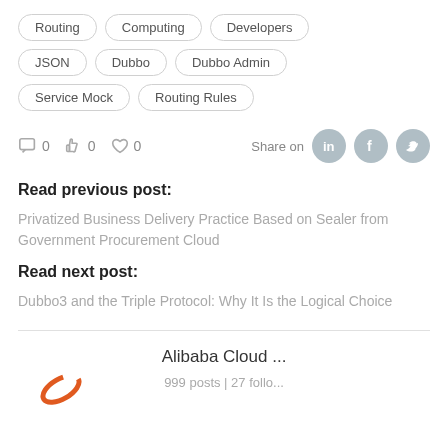Routing
Computing
Developers
JSON
Dubbo
Dubbo Admin
Service Mock
Routing Rules
0   0   0   Share on
Read previous post:
Privatized Business Delivery Practice Based on Sealer from Government Procurement Cloud
Read next post:
Dubbo3 and the Triple Protocol: Why It Is the Logical Choice
Alibaba Cloud ...
999 posts | 27 follo...